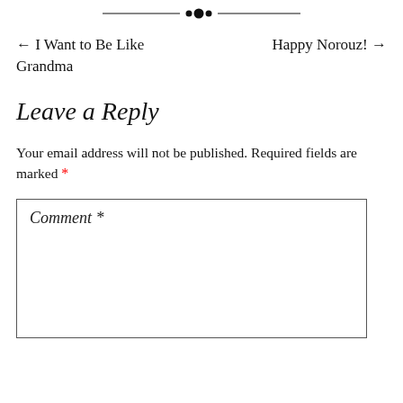[Figure (other): Decorative horizontal divider with ornamental dots in the center]
← I Want to Be Like Grandma    Happy Norouz! →
Leave a Reply
Your email address will not be published. Required fields are marked *
Comment *